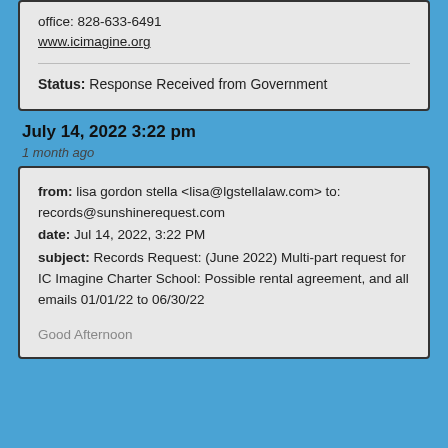office: 828-633-6491
www.icimagine.org
Status: Response Received from Government
July 14, 2022 3:22 pm
1 month ago
from: lisa gordon stella <lisa@lgstellalaw.com> to: records@sunshinerequest.com
date: Jul 14, 2022, 3:22 PM
subject: Records Request: (June 2022) Multi-part request for IC Imagine Charter School: Possible rental agreement, and all emails 01/01/22 to 06/30/22
Good Afternoon